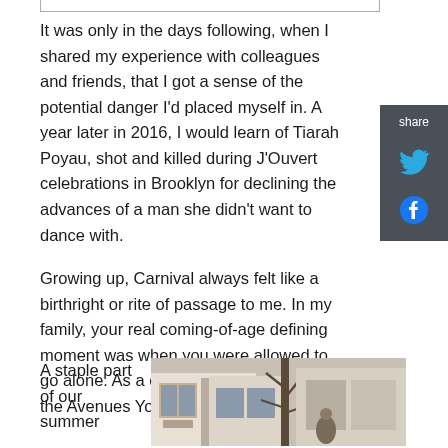It was only in the days following, when I shared my experience with colleagues and friends, that I got a sense of the potential danger I'd placed myself in. A year later in 2016, I would learn of Tiarah Poyau, shot and killed during J'Ouvert celebrations in Brooklyn for declining the advances of a man she didn't want to dance with.
Growing up, Carnival always felt like a birthright or rite of passage to me. In my family, your real coming-of-age defining moment was when you were allowed to go alone. As a child, my mum worked at the Avenues Youth Club on Harrow Road.
A staple part of our summer
[Figure (photo): Photograph of a building exterior, appearing to be a white Victorian-style building with bay windows, with a person visible near a tree in the foreground.]